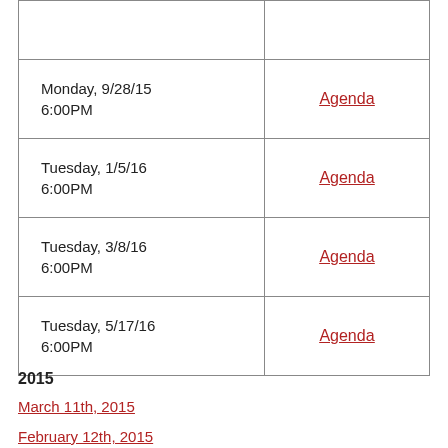| Date | Documents |
| --- | --- |
| Monday, 9/28/15
6:00PM | Agenda |
| Tuesday, 1/5/16
6:00PM | Agenda |
| Tuesday, 3/8/16
6:00PM | Agenda |
| Tuesday, 5/17/16
6:00PM | Agenda |
2015
March 11th, 2015
February 12th, 2015